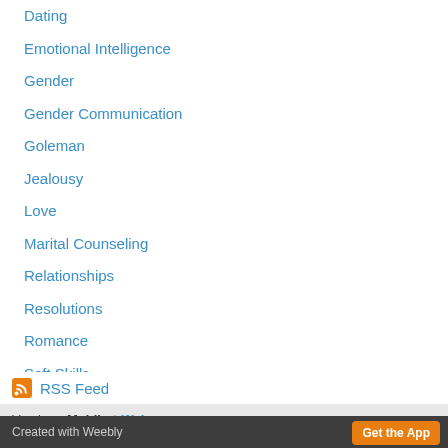Dating
Emotional Intelligence
Gender
Gender Communication
Goleman
Jealousy
Love
Marital Counseling
Relationships
Resolutions
Romance
Soft Skills
Time Magazine
Training
Valentine's Day
RSS Feed
Version: Mobile | Web
Created with Weebly  Get the App